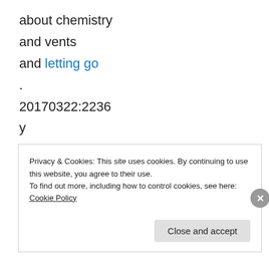about chemistry
and vents
and letting go
.
20170322:2236
y
Privacy & Cookies: This site uses cookies. By continuing to use this website, you agree to their use.
To find out more, including how to control cookies, see here: Cookie Policy